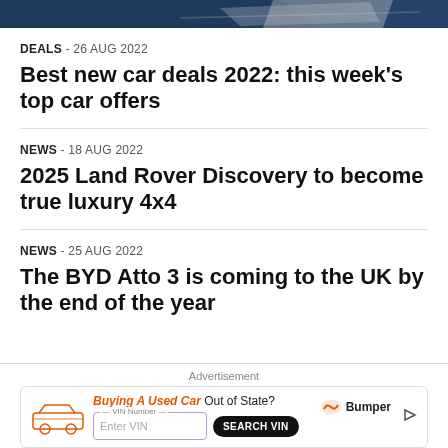[Figure (photo): Top portion of a car article hero image, showing a vehicle against a dark background]
DEALS  - 26 Aug 2022
Best new car deals 2022: this week's top car offers
NEWS  - 18 Aug 2022
2025 Land Rover Discovery to become true luxury 4x4
NEWS  - 25 Aug 2022
The BYD Atto 3 is coming to the UK by the end of the year
Advertisement
[Figure (screenshot): Bumper advertisement banner: 'Buying A Used Car Out of State? VIN Number - Enter VIN - SEARCH VIN']